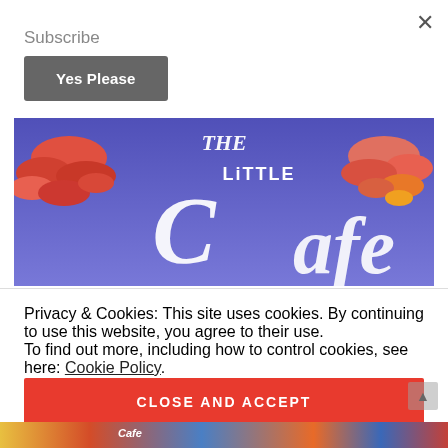Subscribe
Yes Please
[Figure (illustration): Book cover showing 'The Little Cafe' title text in white script on a purple/blue sky background with colourful clouds]
Privacy & Cookies: This site uses cookies. By continuing to use this website, you agree to their use.
To find out more, including how to control cookies, see here: Cookie Policy
CLOSE AND ACCEPT